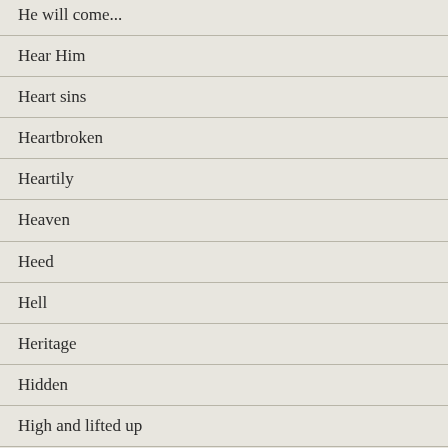He will come...
Hear Him
Heart sins
Heartbroken
Heartily
Heaven
Heed
Hell
Heritage
Hidden
High and lifted up
His good pleasure
His holy ones